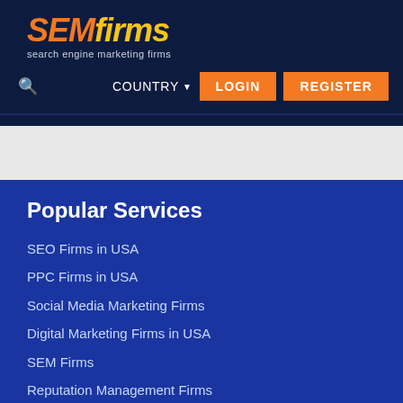[Figure (logo): SEMfirms logo with orange SEM and yellow firms in italic, tagline: search engine marketing firms]
COUNTRY  LOGIN  REGISTER
Popular Services
SEO Firms in USA
PPC Firms in USA
Social Media Marketing Firms
Digital Marketing Firms in USA
SEM Firms
Reputation Management Firms